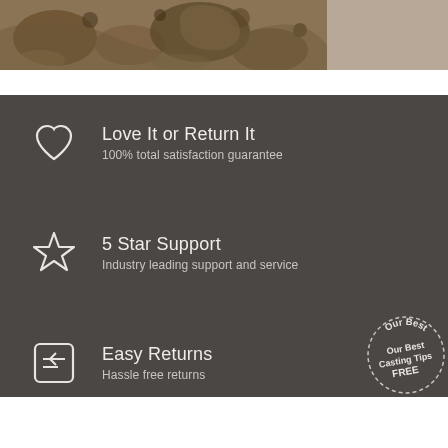[Figure (photo): Rocks and stones on a beach or riverbank, close-up photo]
Love It or Return It
100% total satisfaction guarantee
5 Star Support
Industry leading support and service
Easy Returns
Hassle free returns
[Figure (other): Circular badge with text 'Our Best Casting Tips FREE']